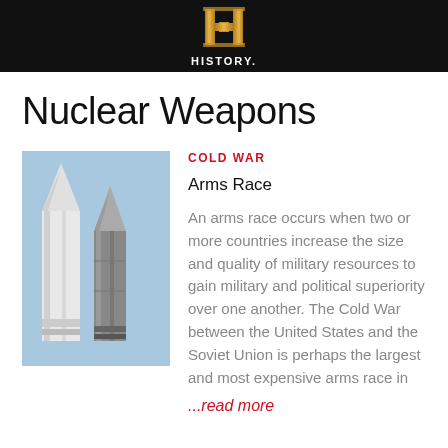HISTORY
Nuclear Weapons
[Figure (photo): Two ballistic missiles with pointed warheads against a blue sky]
COLD WAR
Arms Race
An arms race occurs when two or more countries increase the size and quality of military resources to gain military and political superiority over one another. The Cold War between the United States and the Soviet Union is perhaps the largest and most expensive arms race in
...read more